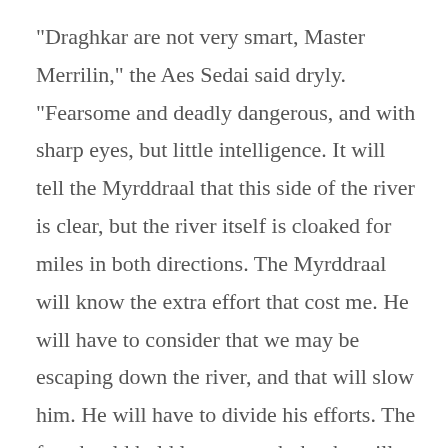“Draghkar are not very smart, Master Merrilin,” the Aes Sedai said dryly. “Fearsome and deadly dangerous, and with sharp eyes, but little intelligence. It will tell the Myrddraal that this side of the river is clear, but the river itself is cloaked for miles in both directions. The Myrddraal will know the extra effort that cost me. He will have to consider that we may be escaping down the river, and that will slow him. He will have to divide his efforts. The fog should hold long enough that he will never be sure that we did not travel at least partway by boat. I could have extended the fog a little way toward Baerlon, instead, but then the Draghkar could search the river in a matter of hours, and the Myrddraal would know exactly where we were headed.”